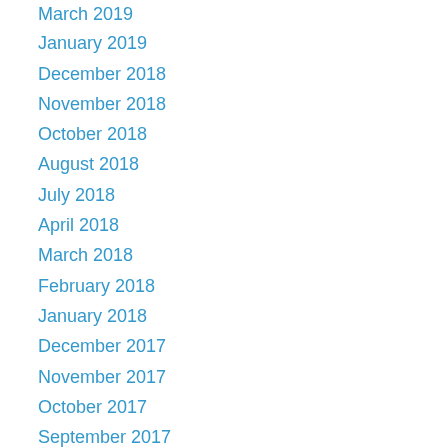March 2019
January 2019
December 2018
November 2018
October 2018
August 2018
July 2018
April 2018
March 2018
February 2018
January 2018
December 2017
November 2017
October 2017
September 2017
August 2017
July 2017
June 2017
May 2017